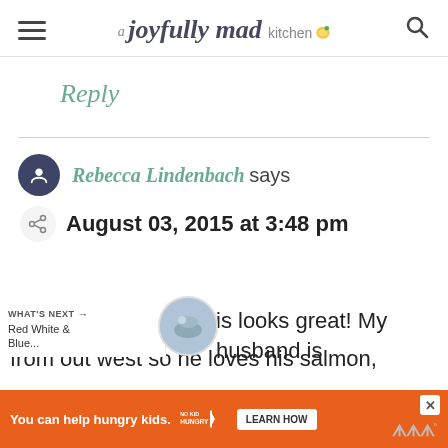a joyfully mad kitchen
Reply
Rebecca Lindenbach says
August 03, 2015 at 3:48 pm
is looks great! My husband is from out west so he loves his salmon,
[Figure (screenshot): WHAT'S NEXT promotional box with Red White & Blue... text and a circular food photo thumbnail]
[Figure (other): Orange advertisement banner: You can help hungry kids. No Kid Hungry - LEARN HOW button]
You can help hungry kids. LEARN HOW